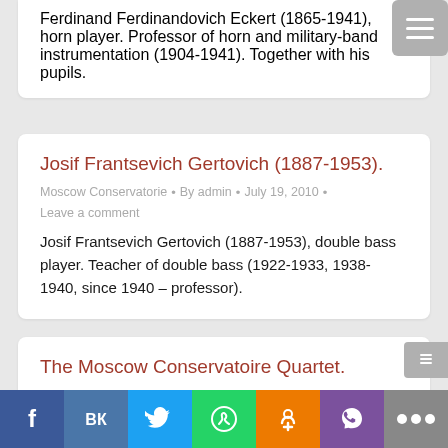Ferdinand Ferdinandovich Eckert (1865-1941), horn player. Professor of horn and military-band instrumentation (1904-1941). Together with his pupils.
Josif Frantsevich Gertovich (1887-1953).
Moscow Conservatorie • By admin • July 19, 2010 •
Leave a comment
Josif Frantsevich Gertovich (1887-1953), double bass player. Teacher of double bass (1922-1933, 1938-1940, since 1940 – professor).
The Moscow Conservatoire Quartet.
Moscow Conservatorie • By admin • July 19, 2010 •
Leave a comment